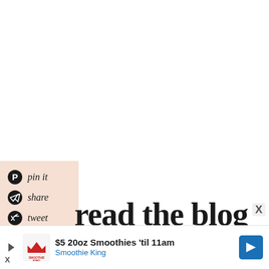[Figure (screenshot): White blank area upper portion of a blog webpage]
[Figure (infographic): Peach/salmon colored social sharing panel with Pinterest, Telegram/share, and Twitter icons with handwritten-style labels: pin it, share, tweet]
read the blog
[Figure (infographic): Advertisement bar at bottom: $5 20oz Smoothies 'til 11am - Smoothie King, with play icon, close X, logo, and navigation arrow]